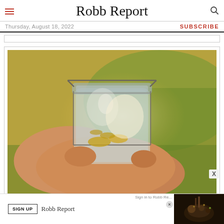Robb Report
Thursday, August 18, 2022
SUBSCRIBE
[Figure (photo): Hands holding a glass jar with coins inside, outdoors on a grassy background with warm sunlight]
[Figure (screenshot): Advertisement banner: SIGN UP button, Robb Report logo, food photo on right, X close button]